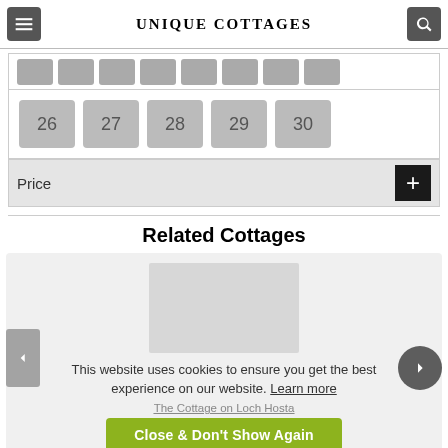UNIQUE COTTAGES
[Figure (screenshot): Calendar date picker showing dates 26-30 in large grey buttons, with a partial row of smaller grey date buttons above]
Price
Related Cottages
This website uses cookies to ensure you get the best experience on our website. Learn more
The Cottage on Loch Hosta
Close & Don't Show Again